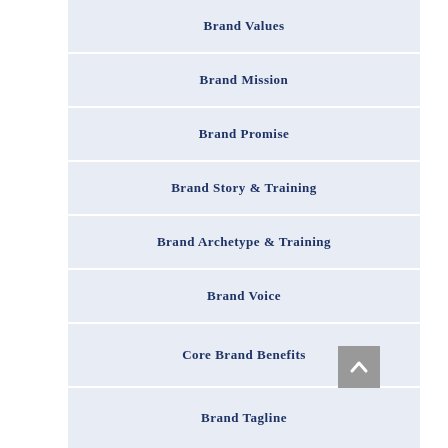Brand Values
Brand Mission
Brand Promise
Brand Story & Training
Brand Archetype & Training
Brand Voice
Core Brand Benefits
Brand Tagline